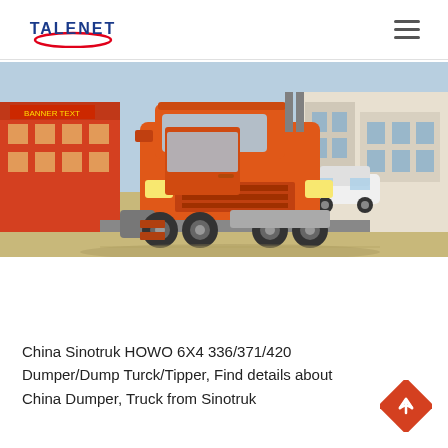TALENET
[Figure (photo): Orange Sinotruk HOWO 6X4 truck (tractor unit) parked in front of commercial buildings and a dealership, with other vehicles visible in the background.]
China Sinotruk HOWO 6X4 336/371/420 Dumper/Dump Turck/Tipper, Find details about China Dumper, Truck from Sinotruk